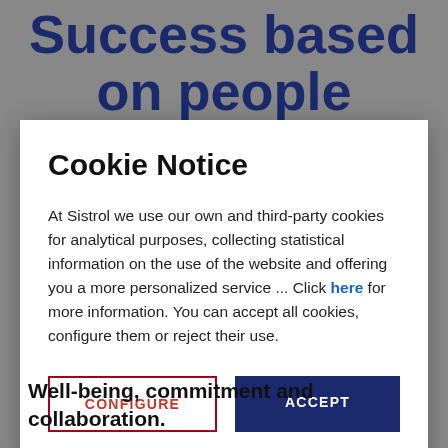Success based on people
Cookie Notice
At Sistrol we use our own and third-party cookies for analytical purposes, collecting statistical information on the use of the website and offering you a more personalized service ... Click here for more information. You can accept all cookies, configure them or reject their use.
CONFIGURE
ACCEPT
Well-being, commitment and collaboration.